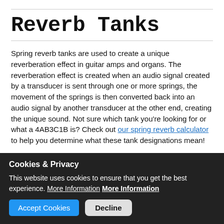Reverb Tanks
Spring reverb tanks are used to create a unique reverberation effect in guitar amps and organs. The reverberation effect is created when an audio signal created by a transducer is sent through one or more springs, the movement of the springs is then converted back into an audio signal by another transducer at the other end, creating the unique sound. Not sure which tank you’re looking for or what a 4AB3C1B is? Check out our spring reverb calculator to help you determine what these tank designations mean!
[Figure (logo): Tube Amp Doctor logo — white cursive text 'Tube Amp' on black background with rounded rectangle border]
Cookies & Privacy
This website uses cookies to ensure that you get the best experience. More Information More Information
Accept Cookies   Decline